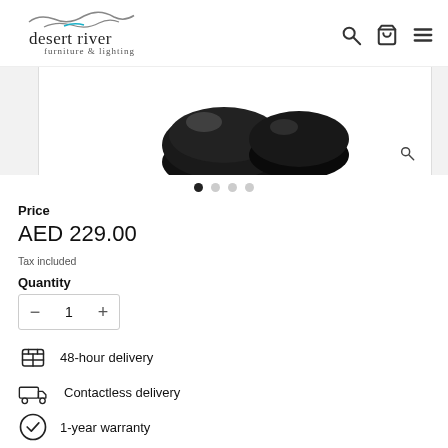[Figure (logo): Desert River furniture & lighting logo with wave motif above text]
[Figure (photo): Product photo showing black dome-shaped items, partially cropped, with magnifier icon]
Price
AED 229.00
Tax included
Quantity
- 1 +
48-hour delivery
Contactless delivery
1-year warranty